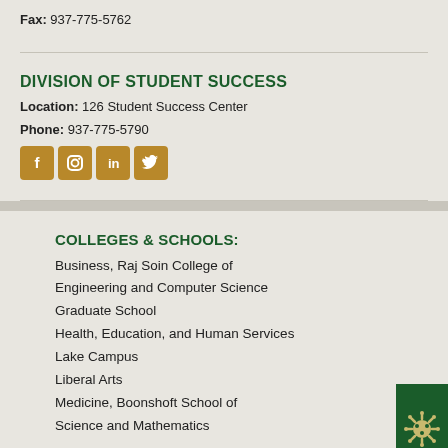Fax: 937-775-5762
DIVISION OF STUDENT SUCCESS
Location: 126 Student Success Center
Phone: 937-775-5790
[Figure (illustration): Social media icons: Facebook, Instagram, LinkedIn, Twitter in gold/brown color]
COLLEGES & SCHOOLS:
Business, Raj Soin College of
Engineering and Computer Science
Graduate School
Health, Education, and Human Services
Lake Campus
Liberal Arts
Medicine, Boonshoft School of
Science and Mathematics
ABOUT WRIGHT STATE: